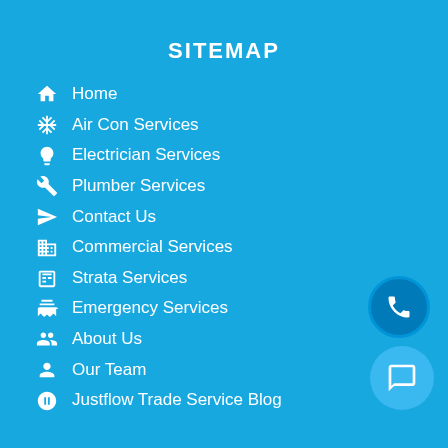SITEMAP
Home
Air Con Services
Electrician Services
Plumber Services
Contact Us
Commercial Services
Strata Services
Emergency Services
About Us
Our Team
Justflow Trade Service Blog